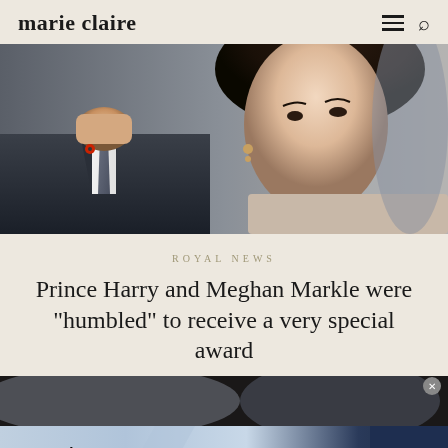marie claire
[Figure (photo): Photo of Prince Harry (left, wearing dark suit and tie) and Meghan Markle (right, dark hair pulled back, wearing earrings) photographed together at a public event.]
ROYAL NEWS
Prince Harry and Meghan Markle were "humbled" to receive a very special award
[Figure (photo): Partial image strip below the article title, showing a partially visible photo.]
Top Junior Gold Mining Stock   Get access to the next Top mining "Micro Cap" here!   EXPLORE NOW